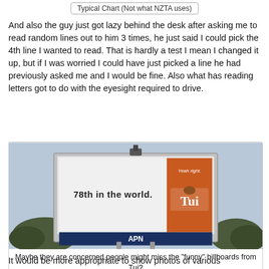Typical Chart (Not what NZTA uses)
And also the guy just got lazy behind the desk after asking me to read random lines out to him 3 times, he just said I could pick the 4th line I wanted to read. That is hardly a test I mean I changed it up, but if I was worried I could have just picked a line he had previously asked me and I would be fine. Also what has reading letters got to do with the eyesight required to drive.
[Figure (photo): A billboard showing '78th in the world.' on the left white panel and a Tui beer advertisement on the right orange panel with 'Yeah right.' text and Tui logo. APN sign at the bottom.]
Maybe they are concerned people might miss the "funny" billboards from Tui?
It would be more appropriate to show photos of various